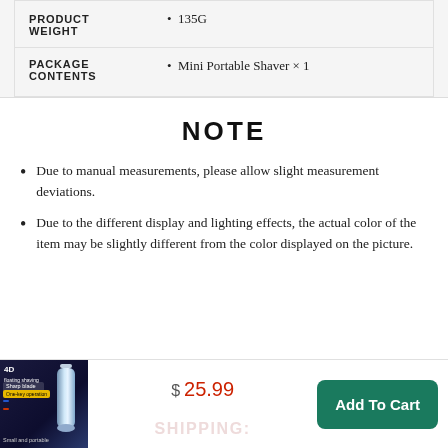|  |  |
| --- | --- |
| PRODUCT WEIGHT | • 135G |
| PACKAGE CONTENTS | • Mini Portable Shaver × 1 |
NOTE
Due to manual measurements, please allow slight measurement deviations.
Due to the different display and lighting effects, the actual color of the item may be slightly different from the color displayed on the picture.
[Figure (photo): Product thumbnail image of 4D mini portable shaver in dark background with text: Sharp blade, Surging power, One-key operation]
$ 25.99
SHIPPING:
Add To Cart